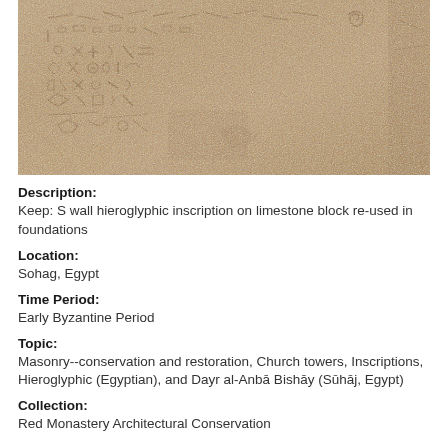[Figure (photo): Close-up photograph of a limestone block with ancient hieroglyphic inscriptions carved into its surface. The stone is sandy/tan colored with many carved symbols and figures visible across the surface.]
Description:
Keep: S wall hieroglyphic inscription on limestone block re-used in foundations
Location:
Sohag, Egypt
Time Period:
Early Byzantine Period
Topic:
Masonry--conservation and restoration, Church towers, Inscriptions, Hieroglyphic (Egyptian), and Dayr al-Anbā Bishāy (Sūhāj, Egypt)
Collection:
Red Monastery Architectural Conservation